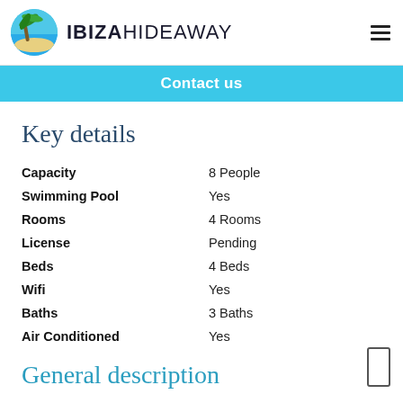IBIZAHIDEAWAY
Contact us
Key details
|  |  |
| --- | --- |
| Capacity | 8 People |
| Swimming Pool | Yes |
| Rooms | 4 Rooms |
| License | Pending |
| Beds | 4 Beds |
| Wifi | Yes |
| Baths | 3 Baths |
| Air Conditioned | Yes |
General description